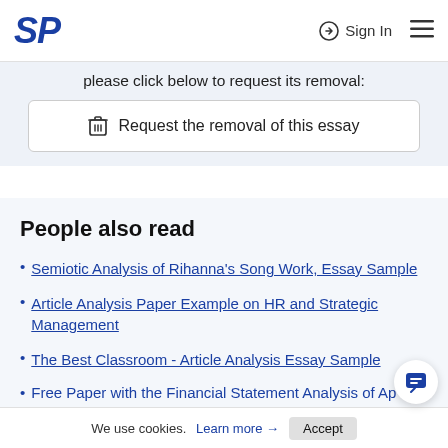SP   Sign In  ☰
please click below to request its removal:
🗑 Request the removal of this essay
People also read
Semiotic Analysis of Rihanna's Song Work, Essay Sample
Article Analysis Paper Example on HR and Strategic Management
The Best Classroom - Article Analysis Essay Sample
Free Paper with the Financial Statement Analysis of Ap
We use cookies. Learn more → Accept